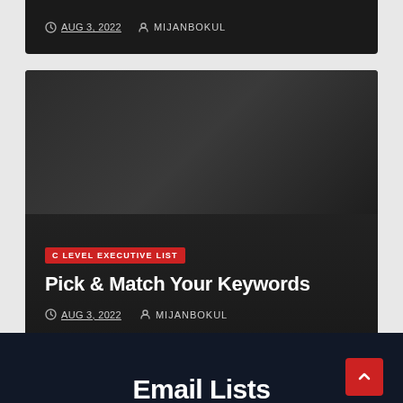AUG 3, 2022  MIJANBOKUL
[Figure (screenshot): Dark card with category tag 'C LEVEL EXECUTIVE LIST' in red, title 'Pick & Match Your Keywords' in white bold, and metadata showing AUG 3, 2022 and MIJANBOKUL]
Pick & Match Your Keywords
AUG 3, 2022  MIJANBOKUL
Email Lists